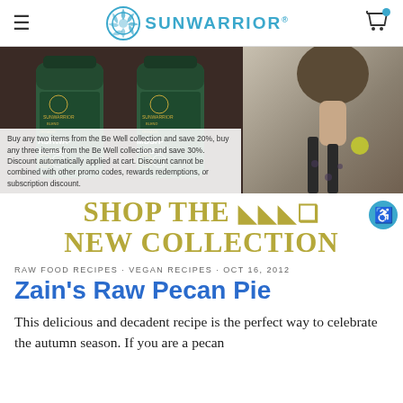SUNWARRIOR
[Figure (photo): Sunwarrior product banner showing two green supplement bottles (Ashwagandha and Mushroom) on dark background, with a woman in floral dress on the right side]
Buy any two items from the Be Well collection and save 20%, buy any three items from the Be Well collection and save 30%. Discount automatically applied at cart. Discount cannot be combined with other promo codes, rewards redemptions, or subscription discount.
[Figure (infographic): SHOP THE >>> NEW COLLECTION in gold/olive serif text on white background]
RAW FOOD RECIPES · VEGAN RECIPES · OCT 16, 2012
Zain's Raw Pecan Pie
This delicious and decadent recipe is the perfect way to celebrate the autumn season. If you are a pecan